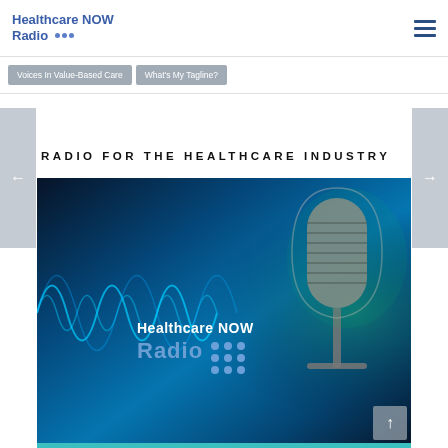Healthcare NOW Radio
Voices In Value-Based Care
What's My Tagline?
RADIO FOR THE HEALTHCARE INDUSTRY
[Figure (photo): Healthcare NOW Radio promotional banner image showing a professional microphone with glowing blue audio waveforms on a dark blue background, with the Healthcare NOW Radio logo overlaid in white and blue text.]